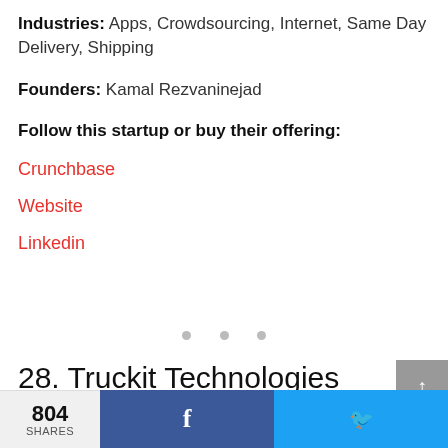Industries: Apps, Crowdsourcing, Internet, Same Day Delivery, Shipping
Founders: Kamal Rezvaninejad
Follow this startup or buy their offering:
Crunchbase
Website
Linkedin
28. Truckit Technologies
804 SHARES  f  (twitter bird)